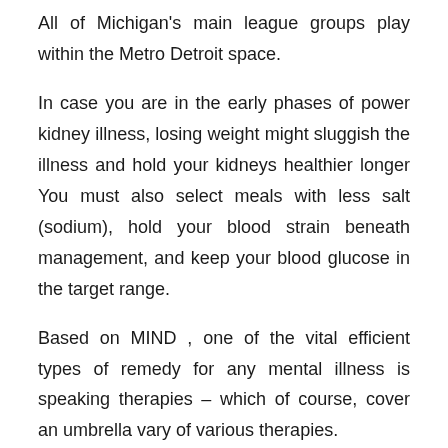All of Michigan's main league groups play within the Metro Detroit space.
In case you are in the early phases of power kidney illness, losing weight might sluggish the illness and hold your kidneys healthier longer You must also select meals with less salt (sodium), hold your blood strain beneath management, and keep your blood glucose in the target range.
Based on MIND , one of the vital efficient types of remedy for any mental illness is speaking therapies – which of course, cover an umbrella vary of various therapies.
Alternatively, if you are married with or without youngsters and have dependent dad and mom, mother and father-in-law, siblings, etc., then a family health insurance plan is